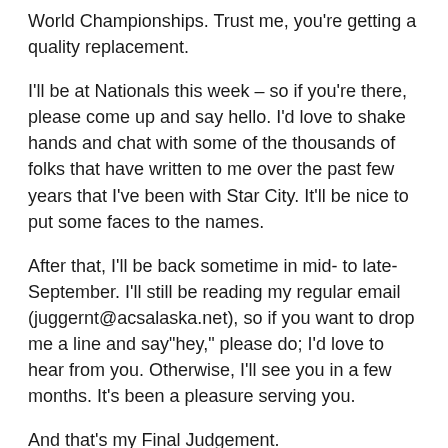World Championships. Trust me, you're getting a quality replacement.
I'll be at Nationals this week – so if you're there, please come up and say hello. I'd love to shake hands and chat with some of the thousands of folks that have written to me over the past few years that I've been with Star City. It'll be nice to put some faces to the names.
After that, I'll be back sometime in mid- to late-September. I'll still be reading my regular email (juggernt@acsalaska.net), so if you want to drop me a line and say"hey," please do; I'd love to hear from you. Otherwise, I'll see you in a few months. It's been a pleasure serving you.
And that's my Final Judgement.
Sheldon K. Menery